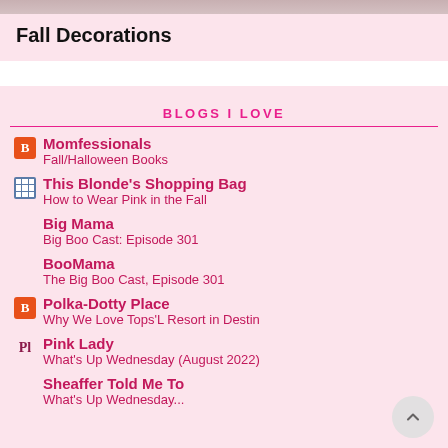[Figure (photo): Top image bar, partially cropped photo]
Fall Decorations
BLOGS I LOVE
Momfessionals
Fall/Halloween Books
This Blonde's Shopping Bag
How to Wear Pink in the Fall
Big Mama
Big Boo Cast: Episode 301
BooMama
The Big Boo Cast, Episode 301
Polka-Dotty Place
Why We Love Tops'L Resort in Destin
Pink Lady
What's Up Wednesday (August 2022)
Sheaffer Told Me To
What's Up Wednesday...